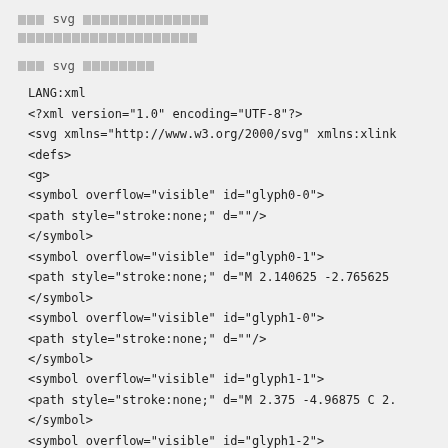[CJK] svg [CJK characters] [CJK characters continued line 2]
[CJK] svg [CJK characters]
LANG:xml
<?xml version="1.0" encoding="UTF-8"?>
<svg xmlns="http://www.w3.org/2000/svg" xmlns:xlink
<defs>
<g>
<symbol overflow="visible" id="glyph0-0">
<path style="stroke:none;" d=""/>
</symbol>
<symbol overflow="visible" id="glyph0-1">
<path style="stroke:none;" d="M 2.140625 -2.765625
</symbol>
<symbol overflow="visible" id="glyph1-0">
<path style="stroke:none;" d=""/>
</symbol>
<symbol overflow="visible" id="glyph1-1">
<path style="stroke:none;" d="M 2.375 -4.96875 C 2.
</symbol>
<symbol overflow="visible" id="glyph1-2">
<path style="stroke:none;" d="M 2.265625 -2.90625 L
</symbol>